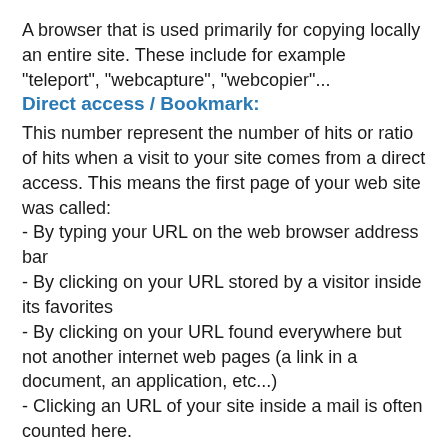A browser that is used primarily for copying locally an entire site. These include for example "teleport", "webcapture", "webcopier"...
Direct access / Bookmark:
This number represent the number of hits or ratio of hits when a visit to your site comes from a direct access. This means the first page of your web site was called:
- By typing your URL on the web browser address bar
- By clicking on your URL stored by a visitor inside its favorites
- By clicking on your URL found everywhere but not another internet web pages (a link in a document, an application, etc...)
- Clicking an URL of your site inside a mail is often counted here.